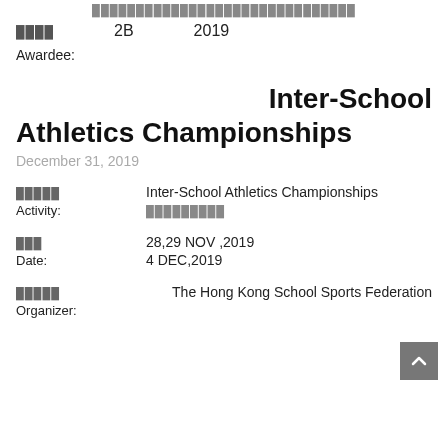██████████████████████████████
████  2B  2019
Awardee:
Inter-School Athletics Championships
December 31, 2019
█████  Inter-School Athletics Championships  █████████
Activity:
███  28,29 NOV ,2019  4 DEC,2019
Date:
█████  The Hong Kong School Sports Federation
Organizer: